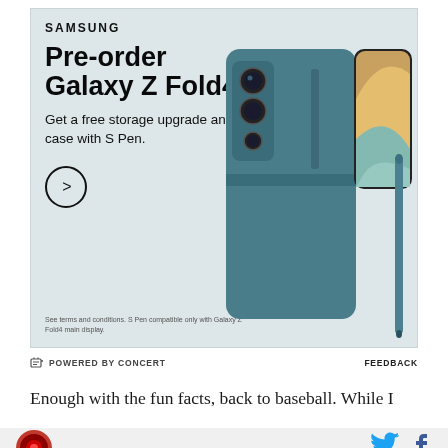[Figure (advertisement): Samsung Galaxy Z Fold4 pre-order advertisement on a grey-blue background. Shows Samsung logo, headline 'Pre-order Galaxy Z Fold4', subtext 'Get a free storage upgrade and case with S Pen.', a circular arrow CTA button, fine print, and an image of the teal Samsung Galaxy Z Fold4 phone with S Pen.]
POWERED BY CONCERT   FEEDBACK
Enough with the fun facts, back to baseball. While I
[Figure (logo): Red circular logo in footer bar]
[Figure (other): Twitter bird icon and Facebook f icon in blue]